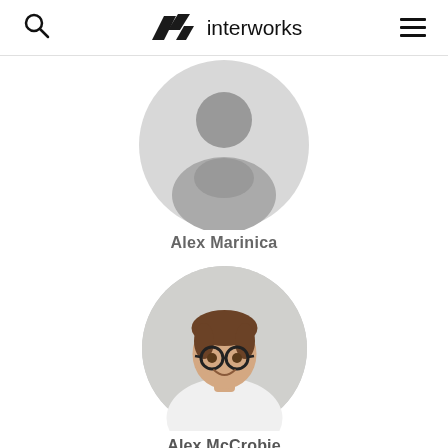interworks
[Figure (illustration): Circular avatar placeholder silhouette for Alex Marinica]
Alex Marinica
[Figure (photo): Circular profile photo of Alex McCrobie, a man with glasses and brown hair wearing a white shirt, smiling]
Alex McCrobie
Systems Engineer